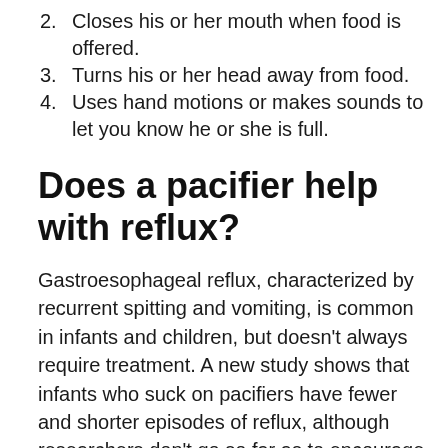2. Closes his or her mouth when food is offered.
3. Turns his or her head away from food.
4. Uses hand motions or makes sounds to let you know he or she is full.
Does a pacifier help with reflux?
Gastroesophageal reflux, characterized by recurrent spitting and vomiting, is common in infants and children, but doesn’t always require treatment. A new study shows that infants who suck on pacifiers have fewer and shorter episodes of reflux, although researchers don’t go so far as to encourage the use of pacifiers.